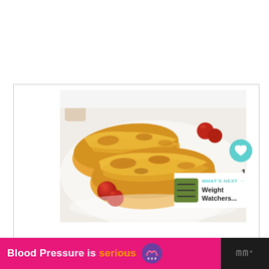[Figure (photo): Close-up photo of baked zucchini boats filled with melted cheese, golden-browned on top, served on a white plate with cherry tomatoes]
1
WHAT'S NEXT → Weight Watchers...
Blood Pressure is serious